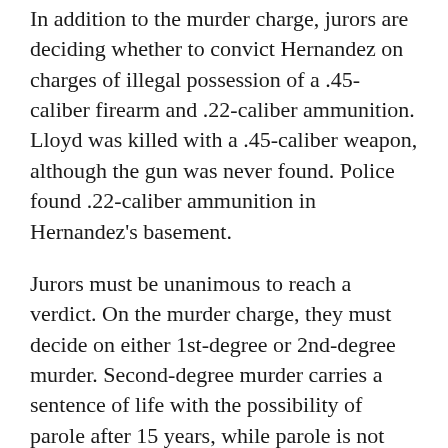In addition to the murder charge, jurors are deciding whether to convict Hernandez on charges of illegal possession of a .45-caliber firearm and .22-caliber ammunition. Lloyd was killed with a .45-caliber weapon, although the gun was never found. Police found .22-caliber ammunition in Hernandez's basement.
Jurors must be unanimous to reach a verdict. On the murder charge, they must decide on either 1st-degree or 2nd-degree murder. Second-degree murder carries a sentence of life with the possibility of parole after 15 years, while parole is not possible with a 1st-degree murder conviction.
(TM and © Copyright 2015 CBS Radio Inc. and its relevant subsidiaries. CBS RADIO and EYE Logo TM